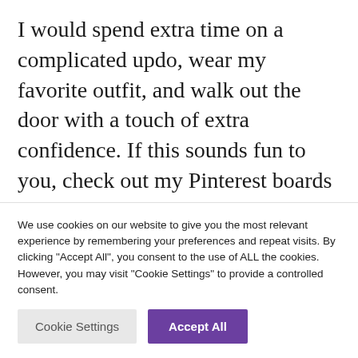I would spend extra time on a complicated updo, wear my favorite outfit, and walk out the door with a touch of extra confidence. If this sounds fun to you, check out my Pinterest boards on What to Wear to Work and Teacher Hair Styles, or make your own Pinterest boards! If that doesn't interest you as a fun winter pick-me-up, show your style in another way. What area of your classroom is feeling a bit tired? Maybe you
We use cookies on our website to give you the most relevant experience by remembering your preferences and repeat visits. By clicking "Accept All", you consent to the use of ALL the cookies. However, you may visit "Cookie Settings" to provide a controlled consent.